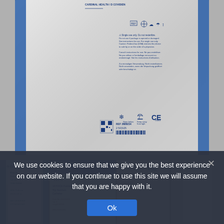[Figure (photo): Close-up photo of the back of a medical device sterile packaging bag (white Tyvek-style material) with blue stripes on either side. The bag has regulatory symbols, warning text in multiple languages, CE marking, and a QR code/barcode at the bottom. Appears to be Argyle brand medical/surgical product packaging from Cardinal Health.]
[Figure (photo): Four smaller thumbnail photos in a row showing different angles/views of the same or similar medical packaging: (1) front view of the bag with blue stripes and printed label, (2) front of Argyle branded packaging showing product name and details with blue header, (3) close-up of symbols/regulatory markings on packaging, (4) clear plastic packaging containing a medical device.]
We use cookies to ensure that we give you the best experience on our website. If you continue to use this site we will assume that you are happy with it.